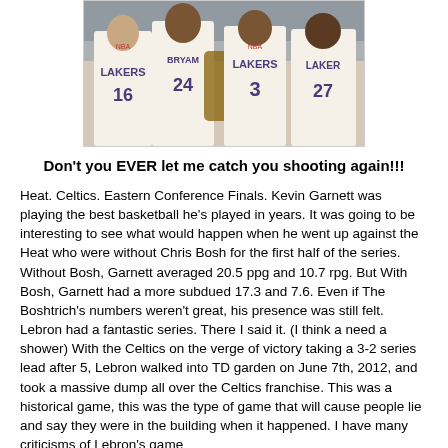[Figure (photo): Photo of Lakers basketball players in white jerseys with numbers 16, 24, 3, and 27 visible, standing together]
Don't you EVER let me catch you shooting again!!!
Heat. Celtics. Eastern Conference Finals. Kevin Garnett was playing the best basketball he's played in years. It was going to be interesting to see what would happen when he went up against the Heat who were without Chris Bosh for the first half of the series. Without Bosh, Garnett averaged 20.5 ppg and 10.7 rpg. But With Bosh, Garnett had a more subdued 17.3 and 7.6. Even if The Boshtrich's numbers weren't great, his presence was still felt. Lebron had a fantastic series. There I said it. (I think a need a shower) With the Celtics on the verge of victory taking a 3-2 series lead after 5, Lebron walked into TD garden on June 7th, 2012, and took a massive dump all over the Celtics franchise. This was a historical game, this was the type of game that will cause people lie and say they were in the building when it happened. I have many criticisms of Lebron's game